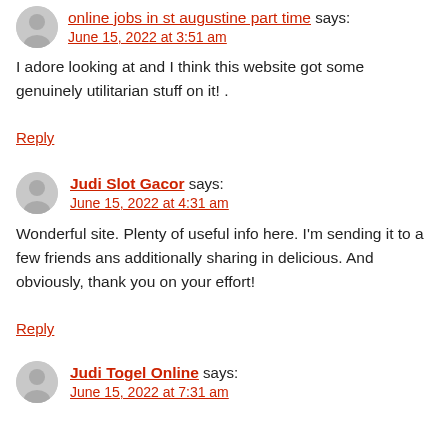online jobs in st augustine part time says:
June 15, 2022 at 3:51 am
I adore looking at and I think this website got some genuinely utilitarian stuff on it! .
Reply
Judi Slot Gacor says:
June 15, 2022 at 4:31 am
Wonderful site. Plenty of useful info here. I'm sending it to a few friends ans additionally sharing in delicious. And obviously, thank you on your effort!
Reply
Judi Togel Online says:
June 15, 2022 at 7:31 am